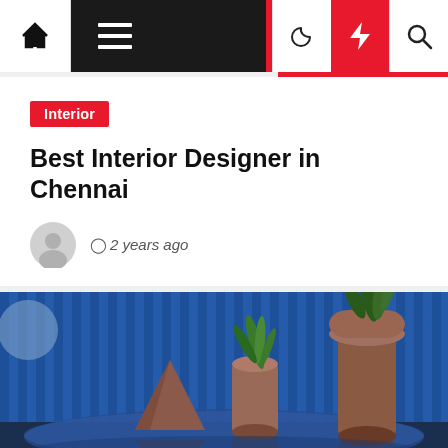Navigation bar with home, menu, dark mode, lightning, and search icons
Interior
Best Interior Designer in Chennai
2 years ago
[Figure (photo): Interior design photo showing a blue corrugated metal wall backdrop with terracotta/clay geometric sculptures, planters with tropical plants, and a reflective blue glass table surface]